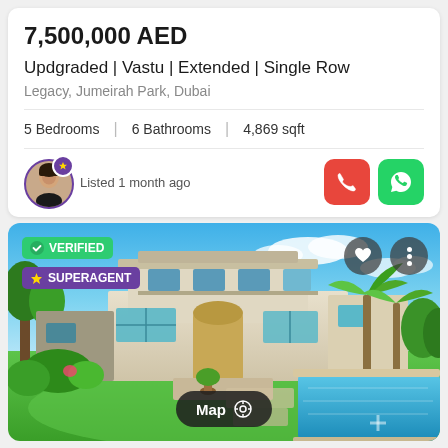7,500,000 AED
Updgraded | Vastu | Extended | Single Row
Legacy, Jumeirah Park, Dubai
5 Bedrooms | 6 Bathrooms | 4,869 sqft
Listed 1 month ago
[Figure (photo): Exterior photo of a large two-story villa in Jumeirah Park, Dubai, with a lush green lawn, palm trees, and a swimming pool in the foreground. Overlays include VERIFIED and SUPERAGENT badges, heart and more buttons, and a Map button at the bottom center.]